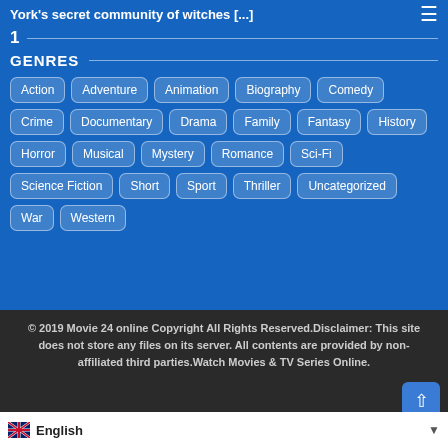York's secret community of witches [...]
1
GENRES
Action
Adventure
Animation
Biography
Comedy
Crime
Documentary
Drama
Family
Fantasy
History
Horror
Musical
Mystery
Romance
Sci-Fi
Science Fiction
Short
Sport
Thriller
Uncategorized
War
Western
© 2019 Movie 24 online Copyright All Rights Reserved.Disclaimer: This site does not store any files on its server. All contents are provided by non-affiliated third parties.Watch Movies & TV Series Online.